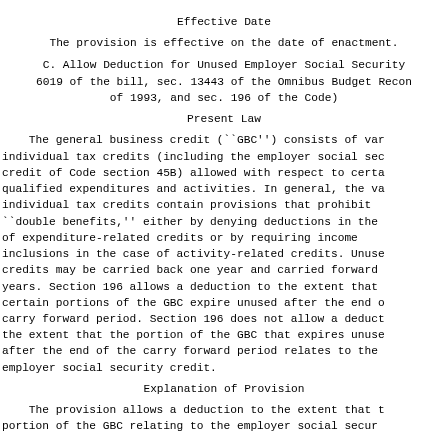Effective Date
The provision is effective on the date of enactment.
C. Allow Deduction for Unused Employer Social Security 6019 of the bill, sec. 13443 of the Omnibus Budget Recon of 1993, and sec. 196 of the Code)
Present Law
The general business credit (``GBC'') consists of var individual tax credits (including the employer social sec credit of Code section 45B) allowed with respect to certa qualified expenditures and activities. In general, the va individual tax credits contain provisions that prohibit ``double benefits,'' either by denying deductions in the of expenditure-related credits or by requiring income inclusions in the case of activity-related credits. Unuse credits may be carried back one year and carried forward years. Section 196 allows a deduction to the extent that certain portions of the GBC expire unused after the end o carry forward period. Section 196 does not allow a deduct the extent that the portion of the GBC that expires unuse after the end of the carry forward period relates to the employer social security credit.
Explanation of Provision
The provision allows a deduction to the extent that t portion of the GBC relating to the employer social secur